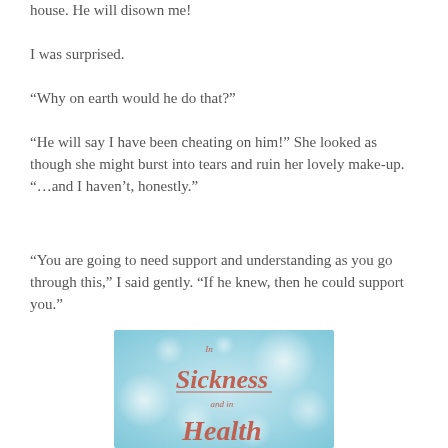house. He will disown me!
I was surprised.
“Why on earth would he do that?”
“He will say I have been cheating on him!” She looked as though she might burst into tears and ruin her lovely make-up. “…and I haven’t, honestly.”
“You are going to need support and understanding as you go through this,” I said gently. “If he knew, then he could support you.”
[Figure (illustration): Book cover image with light blue bokeh background. Text reads 'In Sickness and in Health' in decorative script font with coral/red color.]